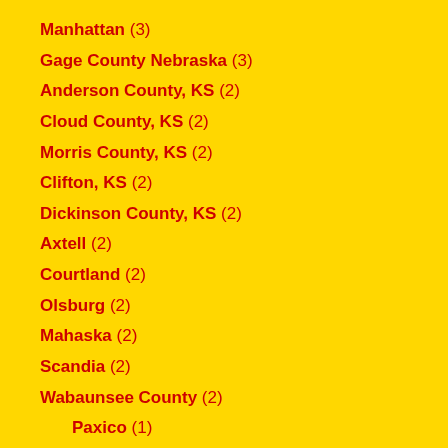Manhattan (3)
Gage County Nebraska (3)
Anderson County, KS (2)
Cloud County, KS (2)
Morris County, KS (2)
Clifton, KS (2)
Dickinson County, KS (2)
Axtell (2)
Courtland (2)
Olsburg (2)
Mahaska (2)
Scandia (2)
Wabaunsee County (2)
Paxico (1)
Geary County (2)
Topeka (2)